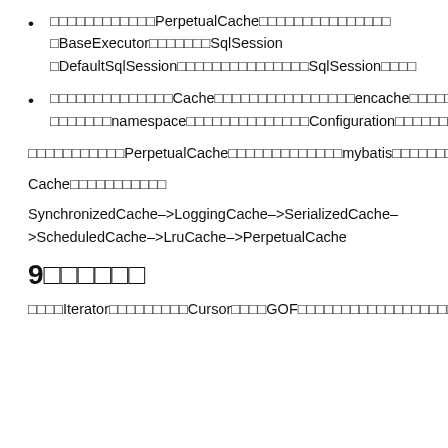□□□□□□□□□□□□PerpetualCache□□□□□□□□□□□□□□□BaseExecutor□□□□□□□SqlSession □DefaultSqlSession□□□□□□□□□□□□□□□SqlSession□□□□
□□□□□□□□□□□□□□Cache□□□□□□□□□□□□□□□□encache□□□□□□□□□□□□namespace□□□□□□□□□□□□□□Configuration□□□□□□□□
□□□□□□□□□□□PerpetualCache□□□□□□□□□□□□□mybatis□□□□□□□□□□□□□□□
Cache□□□□□□□□□□□
SynchronizedCache–>LoggingCache–>SerializedCache–>ScheduledCache–>LruCache–>PerpetualCache
9□□□□□□
□□□□Iterator□□□□□□□□□Cursor□□□□GOF□□□□□□□□□□□□□□□□□□